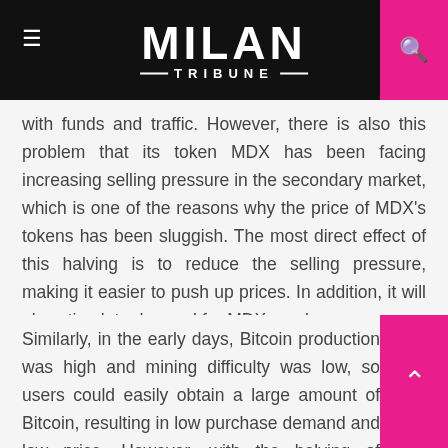MILAN TRIBUNE
with funds and traffic. However, there is also this problem that its token MDX has been facing increasing selling pressure in the secondary market, which is one of the reasons why the price of MDX's tokens has been sluggish. The most direct effect of this halving is to reduce the selling pressure, making it easier to push up prices. In addition, it will also stimulate demand for MDX purchases.
Similarly, in the early days, Bitcoin production was high and mining difficulty was low, so users could easily obtain a large amount of Bitcoin, resulting in low purchase demand and low price. However, with the halving of Bitcoin, its production decreased, and the rising hash kept pushing up the mining difficulty,